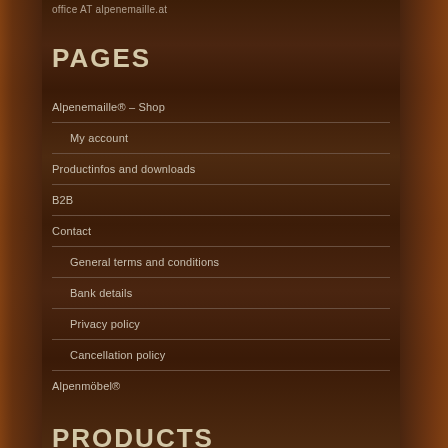office AT alpenemaille.at
PAGES
Alpenemaille® – Shop
My account
Productinfos and downloads
B2B
Contact
General terms and conditions
Bank details
Privacy policy
Cancellation policy
Alpenmöbel®
PRODUCTS